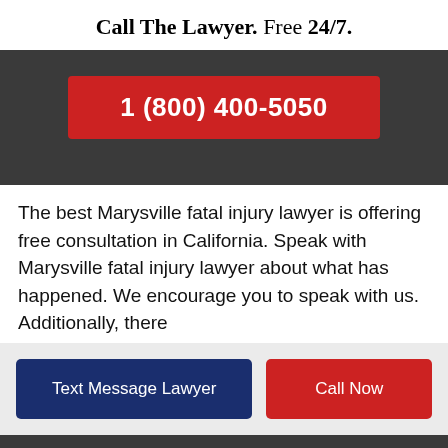Call The Lawyer. Free 24/7.
1 (800) 400-5050
The best Marysville fatal injury lawyer is offering free consultation in California. Speak with Marysville fatal injury lawyer about what has happened. We encourage you to speak with us. Additionally, there
Text Message Lawyer
Call Now
Millions of Dollars Recovered